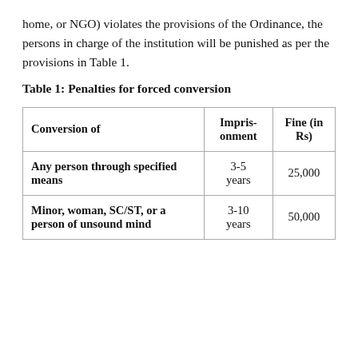home, or NGO) violates the provisions of the Ordinance, the persons in charge of the institution will be punished as per the provisions in Table 1.
Table 1: Penalties for forced conversion
| Conversion of | Imprisonment | Fine (in Rs) |
| --- | --- | --- |
| Any person through specified means | 3-5 years | 25,000 |
| Minor, woman, SC/ST, or a person of unsound mind | 3-10 years | 50,000 |